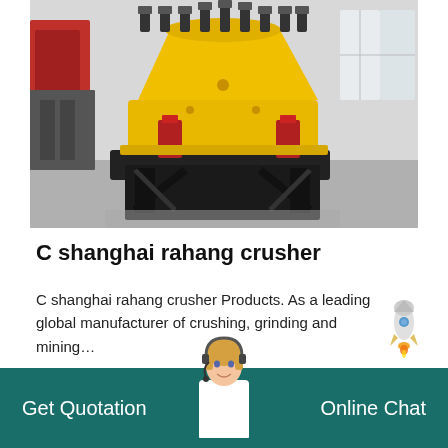[Figure (photo): Large yellow cone crusher machine on black steel frame in an industrial factory setting. Red hydraulic cylinders visible. Factory floor with white walls and windows in background.]
C shanghai rahang crusher
C shanghai rahang crusher Products. As a leading global manufacturer of crushing, grinding and mining…
GET PRICE →
Get Quotation
Online Chat